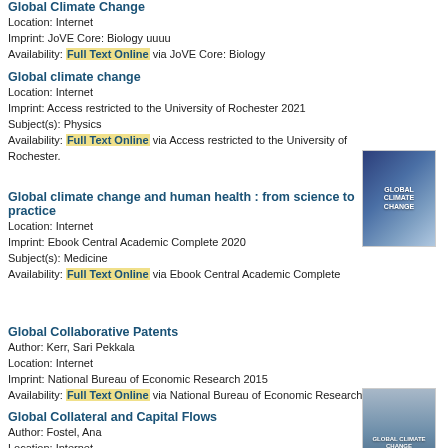Global Climate Change
Location: Internet
Imprint: JoVE Core: Biology uuuu
Availability: Full Text Online via JoVE Core: Biology
Global climate change
Location: Internet
Imprint: Access restricted to the University of Rochester 2021
Subject(s): Physics
Availability: Full Text Online via Access restricted to the University of Rochester.
Global climate change and human health : from science to practice
Location: Internet
Imprint: Ebook Central Academic Complete 2020
Subject(s): Medicine
Availability: Full Text Online via Ebook Central Academic Complete
Global Collaborative Patents
Author: Kerr, Sari Pekkala
Location: Internet
Imprint: National Bureau of Economic Research 2015
Availability: Full Text Online via National Bureau of Economic Research
Global Collateral and Capital Flows
Author: Fostel, Ana
Location: Internet